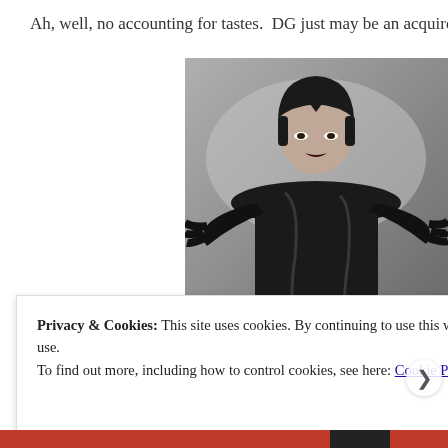Ah, well, no accounting for tastes.  DG just may be an acquire
[Figure (photo): Black and white photo of a woman with a short dark bob haircut wearing a dramatic black latex or leather outfit with claw-like gloves, posing with arms raised]
Privacy & Cookies: This site uses cookies. By continuing to use this website, you agree to their use.
To find out more, including how to control cookies, see here: Cookie Policy
Close and accept